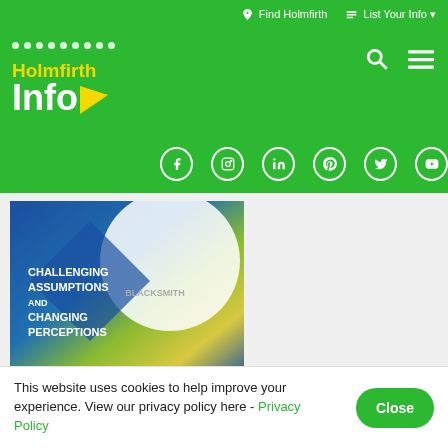Find Holmfirth  List Your Info
[Figure (logo): Holmfirth Info logo with yellow dots, yellow text 'Holmfirth', white bold text 'Info' with yellow arrow, on green background]
[Figure (screenshot): Book cover: 'Challenging Assumptions and Changing Perceptions' by Blacksmith, with blue, green and yellow gradient design]
About:
This website uses cookies to help improve your experience. View our privacy policy here - Privacy Policy